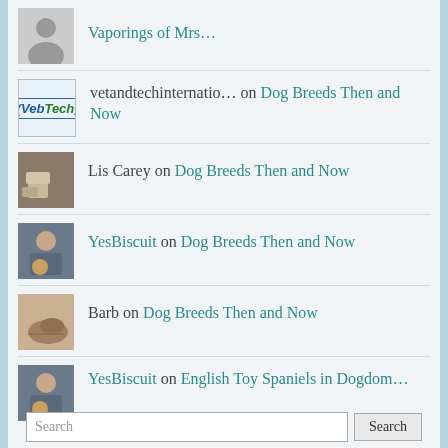Vaporings of Mrs…
vetandtechinternatio… on Dog Breeds Then and Now
Lis Carey on Dog Breeds Then and Now
YesBiscuit on Dog Breeds Then and Now
Barb on Dog Breeds Then and Now
YesBiscuit on English Toy Spaniels in Dogdom…